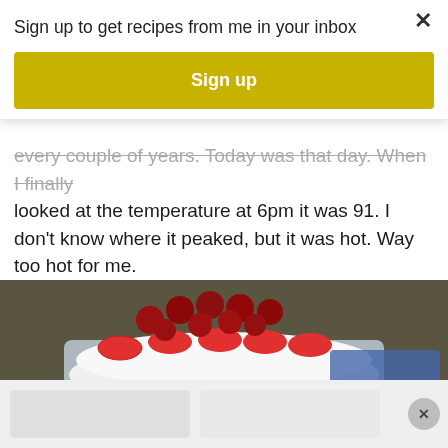Sign up to get recipes from me in your inbox
Sign up
every couple of years. Today was that day. When I finally looked at the temperature at 6pm it was 91. I don't know where it peaked, but it was hot. Way too hot for me.
[Figure (photo): A trifle dessert in a clear glass bowl topped with raspberries and sliced strawberries, with cream and dark cake layers visible. Two decorative bowls are visible to the right.]
[Figure (photo): Partial view of a bottom advertisement bar with light gray background.]